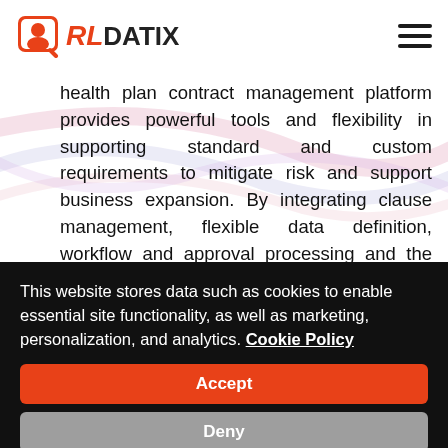RLDatix
health plan contract management platform provides powerful tools and flexibility in supporting standard and custom requirements to mitigate risk and support business expansion. By integrating clause management, flexible data definition, workflow and approval processing and the generation of highly complex multi-part documents, our platform allows your organization to focus on
This website stores data such as cookies to enable essential site functionality, as well as marketing, personalization, and analytics. Cookie Policy
Accept
Deny